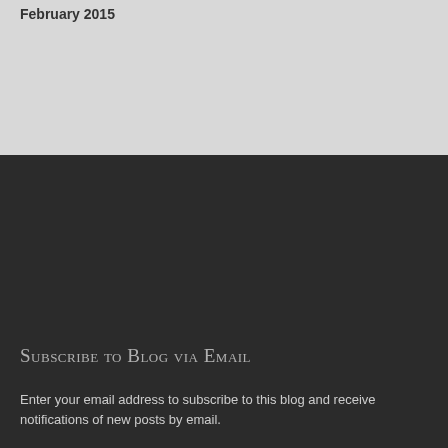February 2015
Subscribe to Blog via Email
Enter your email address to subscribe to this blog and receive notifications of new posts by email.
Email Address
Subscribe
Join 147 other followers
Follow SEEING THE EXTRAORDINARY